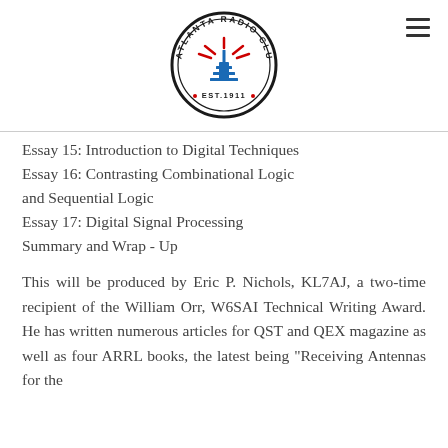[Figure (logo): Atlanta Radio Club circular logo with EST. 1911, radio tower graphic, and lightning bolt decorations in red and blue]
Essay 15: Introduction to Digital Techniques
Essay 16:  Contrasting Combinational Logic and Sequential Logic
Essay 17:  Digital Signal Processing
Summary and Wrap - Up
This will be produced by Eric P. Nichols, KL7AJ, a two-time recipient of the William Orr, W6SAI Technical Writing Award.  He has written numerous articles for QST and QEX magazine as well as four ARRL books, the latest being "Receiving Antennas for the